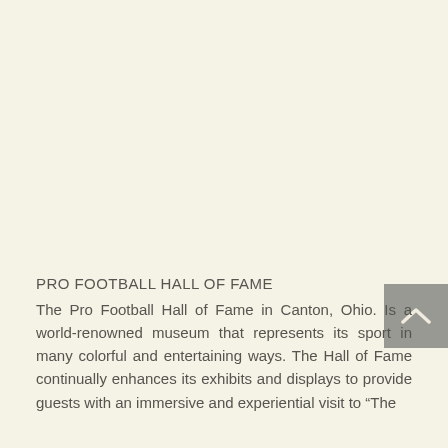PRO FOOTBALL HALL OF FAME
The Pro Football Hall of Fame in Canton, Ohio. Is a world-renowned museum that represents its sport in many colorful and entertaining ways. The Hall of Fame continually enhances its exhibits and displays to provide guests with an immersive and experiential visit to "The